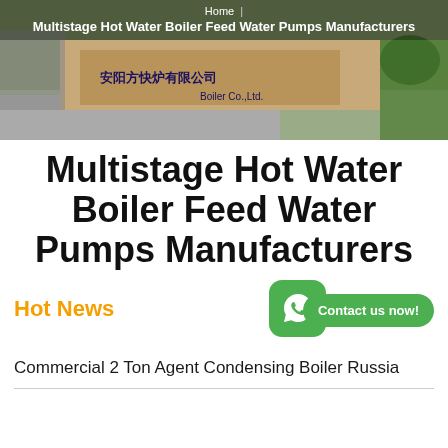[Figure (photo): Aerial view of a boiler manufacturing facility with a sign reading 'Boiler Co., Ltd.' in Chinese and English. Navigation breadcrumb overlaid on the image showing Home > Multistage Hot Water Boiler Feed Water Pumps Manufacturers.]
Home | Multistage Hot Water Boiler Feed Water Pumps Manufacturers
Multistage Hot Water Boiler Feed Water Pumps Manufacturers
[Figure (logo): WhatsApp icon button (green rounded square with phone handset)]
Contact us now!
Hot News
Commercial 2 Ton Agent Condensing Boiler Russia